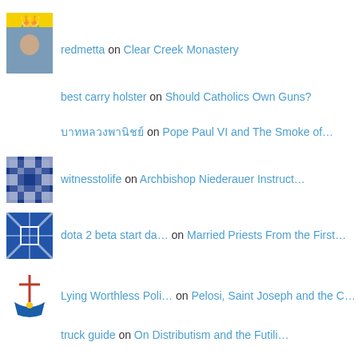[avatar] redmetta on Clear Creek Monastery
best carry holster on Should Catholics Own Guns?
บาทหลวงพานิชย์ on Pope Paul VI and The Smoke of…
[avatar] witnesstolife on Archbishop Niederauer Instruct…
[avatar] dota 2 beta start da… on Married Priests From the First…
[avatar] Lying Worthless Poli… on Pelosi, Saint Joseph and the C…
truck guide on On Distributism and the Futili…
Privacy & Cookies: This site uses cookies. By continuing to use this website, you agree to their use.
To find out more, including how to control cookies, see here: Cookie Policy
Recent Comments